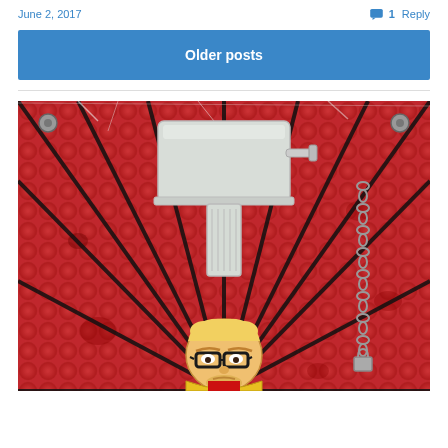June 2, 2017
1 Reply
Older posts
[Figure (illustration): Comic-style illustration with a red sunburst/bubble-wrap textured background with black radiating lines. A white toilet tank with a flush handle is mounted on a pedestal/column. Below it is a cartoon character with blonde hair, thick-framed black glasses, and a yellow and red outfit. A metal chain hangs on the right side of the image.]